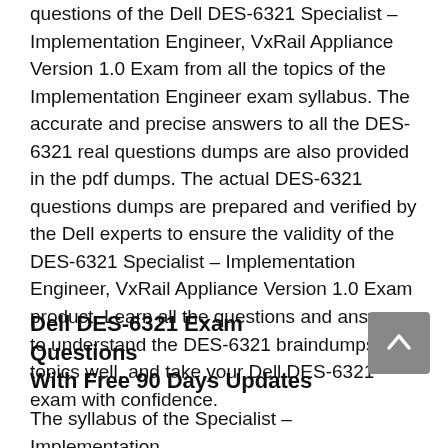questions of the Dell DES-6321 Specialist – Implementation Engineer, VxRail Appliance Version 1.0 Exam from all the topics of the Implementation Engineer exam syllabus. The accurate and precise answers to all the DES-6321 real questions dumps are also provided in the pdf dumps. The actual DES-6321 questions dumps are prepared and verified by the Dell experts to ensure the validity of the DES-6321 Specialist – Implementation Engineer, VxRail Appliance Version 1.0 Exam product. Learn all the questions and answers to understand the DES-6321 braindumps topics well, and take your Dell DES-6321 exam with confidence.
Dell DES-6321 Exam Questions With Free 90 Days Updates
The syllabus of the Specialist – Implementation